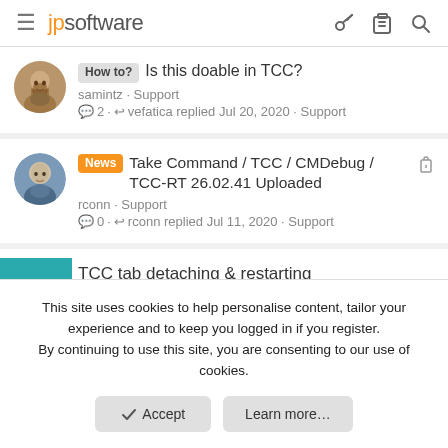jpsoftware
How to? Is this doable in TCC? — samintz · Support — 2 · vefatica replied Jul 20, 2020 · Support
News Take Command / TCC / CMDebug / TCC-RT 26.02.41 Uploaded — rconn · Support — 0 · rconn replied Jul 11, 2020 · Support
TCC tab detaching & restarting — David_Wolfe · Support
This site uses cookies to help personalise content, tailor your experience and to keep you logged in if you register.
By continuing to use this site, you are consenting to our use of cookies.